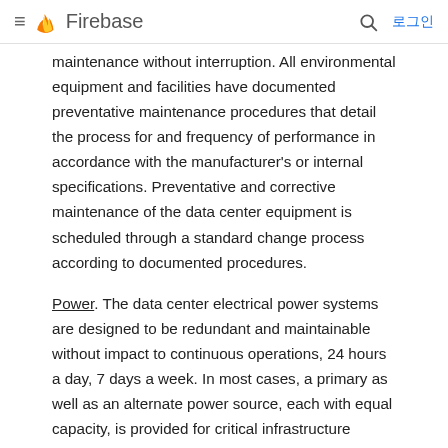≡  Firebase   🔍  로그인
maintenance without interruption. All environmental equipment and facilities have documented preventative maintenance procedures that detail the process for and frequency of performance in accordance with the manufacturer's or internal specifications. Preventative and corrective maintenance of the data center equipment is scheduled through a standard change process according to documented procedures.
Power. The data center electrical power systems are designed to be redundant and maintainable without impact to continuous operations, 24 hours a day, 7 days a week. In most cases, a primary as well as an alternate power source, each with equal capacity, is provided for critical infrastructure components in the data center. Backup power is provided by various mechanisms such as uninterruptible power supplies